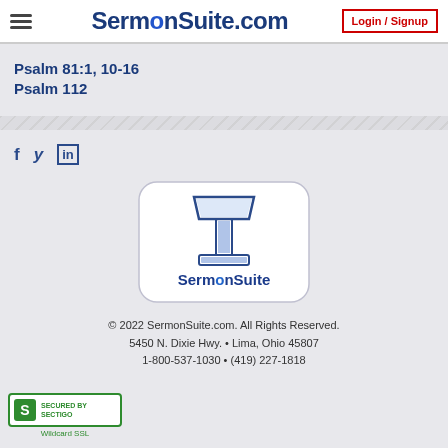SermonSuite.com — Login / Signup
Psalm 81:1, 10-16
Psalm 112
[Figure (logo): SermonSuite logo with podium icon in rounded rectangle]
© 2022 SermonSuite.com. All Rights Reserved. 5450 N. Dixie Hwy. • Lima, Ohio 45807 1-800-537-1030 • (419) 227-1818
[Figure (logo): Sectigo Secured Wildcard SSL badge]